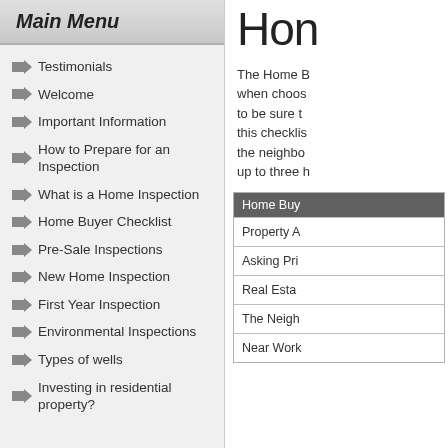Main Menu
Testimonials
Welcome
Important Information
How to Prepare for an Inspection
What is a Home Inspection
Home Buyer Checklist
Pre-Sale Inspections
New Home Inspection
First Year Inspection
Environmental Inspections
Types of wells
Investing in residential property?
Hom
The Home B when choos to be sure t this checklis the neighbo up to three h
| Home Buy |
| --- |
| Property A |
| Asking Pri |
| Real Esta |
| The Neigh |
| Near Work |